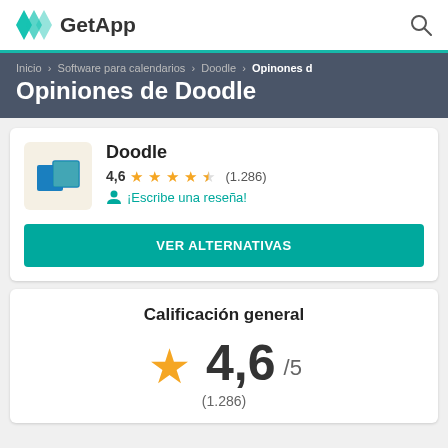GetApp
Inicio › Software para calendarios › Doodle › Opinones d
Opiniones de Doodle
Doodle
4,6 ★★★★½ (1.286)
¡Escribe una reseña!
VER ALTERNATIVAS
Calificación general
4,6/5
(1.286)